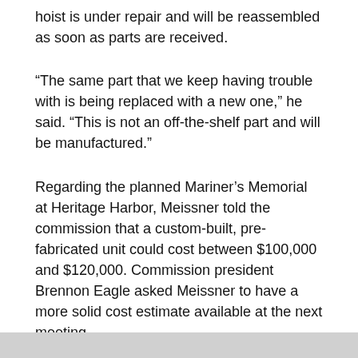hoist is under repair and will be reassembled as soon as parts are received.
“The same part that we keep having trouble with is being replaced with a new one,” he said. “This is not an off-the-shelf part and will be manufactured.”
Regarding the planned Mariner’s Memorial at Heritage Harbor, Meissner told the commission that a custom-built, pre-fabricated unit could cost between $100,000 and $120,000. Commission president Brennon Eagle asked Meissner to have a more solid cost estimate available at the next meeting.
The next meeting of the commission is set for March 11 at 7 p.m. at City Hall.